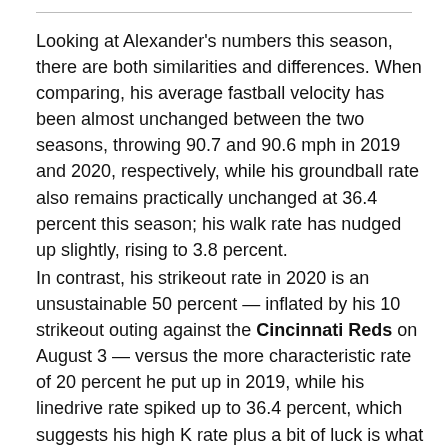Looking at Alexander's numbers this season, there are both similarities and differences. When comparing, his average fastball velocity has been almost unchanged between the two seasons, throwing 90.7 and 90.6 mph in 2019 and 2020, respectively, while his groundball rate also remains practically unchanged at 36.4 percent this season; his walk rate has nudged up slightly, rising to 3.8 percent.
In contrast, his strikeout rate in 2020 is an unsustainable 50 percent — inflated by his 10 strikeout outing against the Cincinnati Reds on August 3 — versus the more characteristic rate of 20 percent he put up in 2019, while his linedrive rate spiked up to 36.4 percent, which suggests his high K rate plus a bit of luck is what has sustained him in his hot start. But